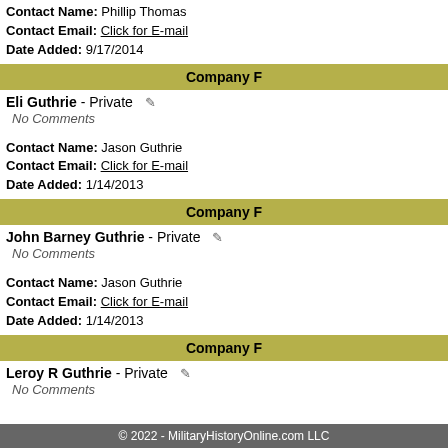Contact Name: Phillip Thomas
Contact Email: Click for E-mail
Date Added: 9/17/2014
Company F
Eli Guthrie - Private
No Comments
Contact Name: Jason Guthrie
Contact Email: Click for E-mail
Date Added: 1/14/2013
Company F
John Barney Guthrie - Private
No Comments
Contact Name: Jason Guthrie
Contact Email: Click for E-mail
Date Added: 1/14/2013
Company F
Leroy R Guthrie - Private
No Comments
© 2022 - MilitaryHistoryOnline.com LLC